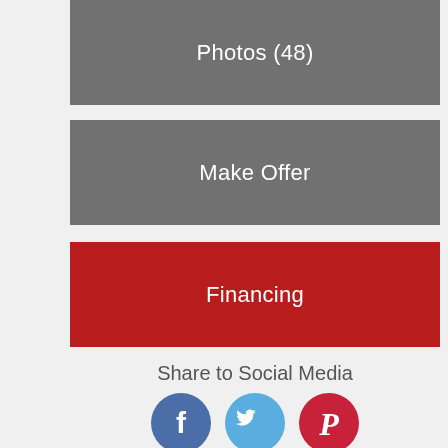Photos (48)
Make Offer
Financing
Share to Social Media
[Figure (infographic): Three social media icons: Facebook (blue circle with f logo), Twitter (light blue circle with bird logo), Pinterest (red circle with P logo)]
Vehicle Details
Curriden Auto Sales
Sales